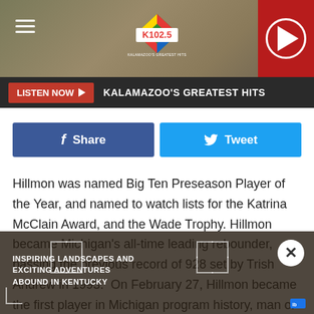[Figure (screenshot): K102.5 radio station website header with logo, hamburger menu, and red play button]
LISTEN NOW ▶  KALAMAZOO'S GREATEST HITS
[Figure (infographic): Facebook Share and Twitter Tweet social sharing buttons]
Hillmon was named Big Ten Preseason Player of the Year, and named to watch lists for the Katrina McClain Award, and the Wade Trophy. Hillmon became Michigan's all-time leading rebounder, passing the previous record of 928 set by Trish Andrew in 1993.  On February 27, Hillmon became the first player in Michigan program history, man or woman, to score 2,000 points and record 1,000 rebounds.  During the 2022
[Figure (infographic): Advertisement overlay: INSPIRING LANDSCAPES AND EXCITING ADVENTURES ABOUND IN KENTUCKY with close button]